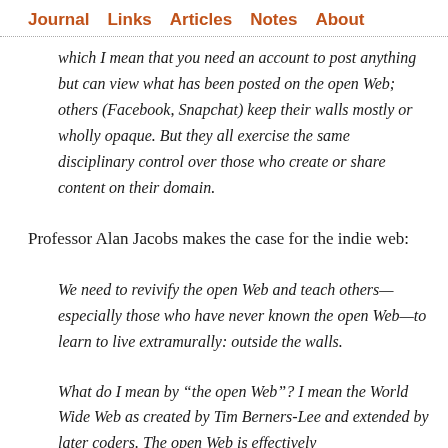Journal   Links   Articles   Notes   About
which I mean that you need an account to post anything but can view what has been posted on the open Web; others (Facebook, Snapchat) keep their walls mostly or wholly opaque. But they all exercise the same disciplinary control over those who create or share content on their domain.
Professor Alan Jacobs makes the case for the indie web:
We need to revivify the open Web and teach others—especially those who have never known the open Web—to learn to live extramurally: outside the walls.
What do I mean by “the open Web”? I mean the World Wide Web as created by Tim Berners-Lee and extended by later coders. The open Web is effectively